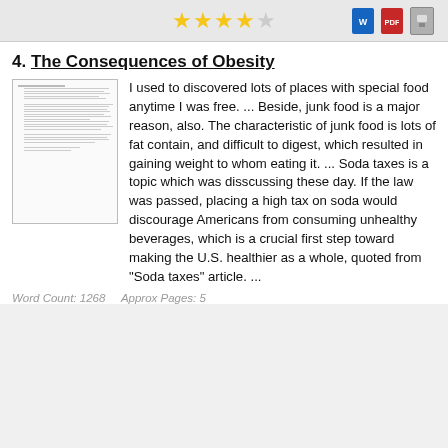[Figure (other): Star rating (3.5 out of 5 stars) and document export icons (Word, PDF, Save) in page header]
4. The Consequences of Obesity
[Figure (other): Thumbnail image of essay document pages]
I used to discovered lots of places with special food anytime I was free. ... Beside, junk food is a major reason, also. The characteristic of junk food is lots of fat contain, and difficult to digest, which resulted in gaining weight to whom eating it. ... Soda taxes is a topic which was disscussing these day. If the law was passed, placing a high tax on soda would discourage Americans from consuming unhealthy beverages, which is a crucial first step toward making the U.S. healthier as a whole, quoted from "Soda taxes" article. ...
Word Count: 1268    Approx Pages: 5